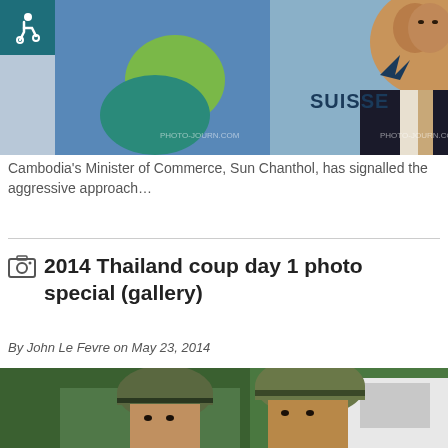[Figure (photo): Cambodia's Minister of Commerce Sun Chanthol at a press event with Credit Suisse banner in the background, PHOTO-JOURN.COM watermark visible]
Cambodia's Minister of Commerce, Sun Chanthol, has signalled the aggressive approach…
2014 Thailand coup day 1 photo special (gallery)
By John Le Fevre on May 23, 2014
[Figure (photo): Two Thai soldiers wearing camouflage helmets standing in front of green foliage and a white vehicle]